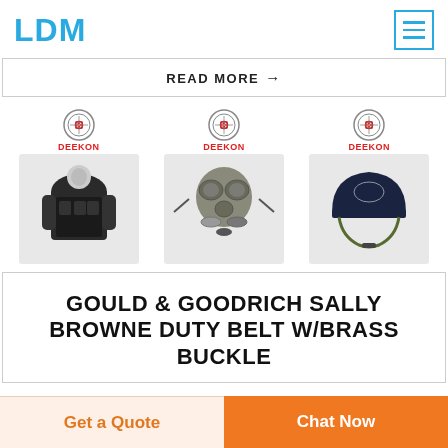LDM
READ MORE →
[Figure (photo): Three military/tactical product images with DEEKON logos: a black tactical vest/plate carrier, a military gas mask with accessories, and a dark blue ballistic helmet with police emblem and chin strap.]
GOULD & GOODRICH SALLY BROWNE DUTY BELT W/BRASS BUCKLE